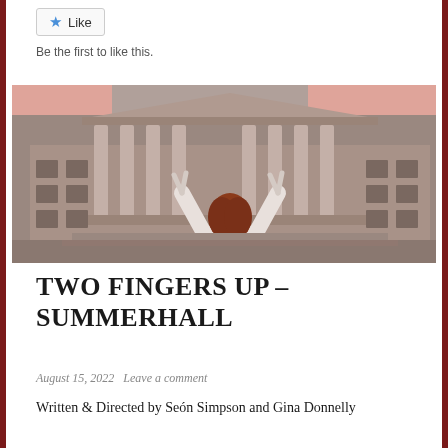[Figure (other): Like button widget with star icon]
Be the first to like this.
[Figure (photo): A person with red hair, seen from behind, raising both hands with two fingers up (peace/victory sign) in front of a large neoclassical government building with columns and ornate pediment. Photo is in black and white / desaturated pink tones. Pink rectangular overlays appear on upper left and upper right corners of the image.]
TWO FINGERS UP – SUMMERHALL
August 15, 2022   Leave a comment
Written & Directed by Seón Simpson and Gina Donnelly